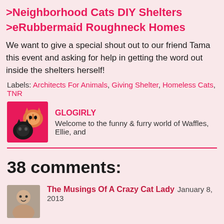>Neighborhood Cats DIY Shelters
>eRubbermaid Roughneck Homes
We want to give a special shout out to our friend Tama this event and asking for help in getting the word out inside the shelters herself!
Labels: Architects For Animals, Giving Shelter, Homeless Cats, TNR
[Figure (photo): Author avatar showing two cats on a pink background]
GLOGIRLY
Welcome to the funny & furry world of Waffles, Ellie, and
38 comments:
[Figure (photo): Commenter profile photo]
The Musings Of A Crazy Cat Lady  January 8, 2013